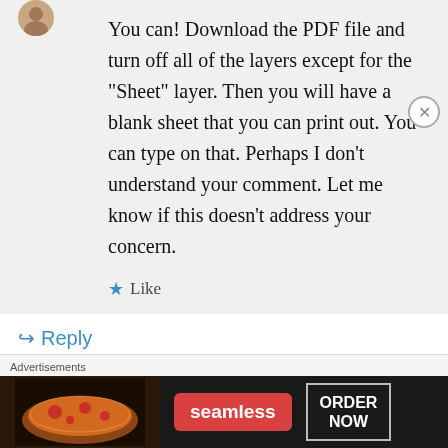You can! Download the PDF file and turn off all of the layers except for the “Sheet” layer. Then you will have a blank sheet that you can print out. You can type on that. Perhaps I don’t understand your comment. Let me know if this doesn’t address your concern.
★ Like
↪ Reply
Anonymous on July 12, 2013 at 7:06 pm
Advertisements
[Figure (screenshot): Seamless food delivery advertisement banner with pizza image, Seamless logo in red, and ORDER NOW button]